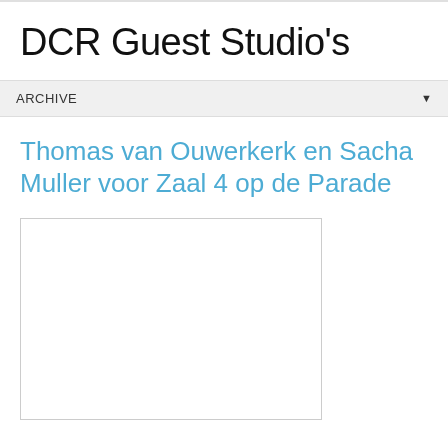DCR Guest Studio's
ARCHIVE
Thomas van Ouwerkerk en Sacha Muller voor Zaal 4 op de Parade
[Figure (other): Empty white image placeholder with light border]